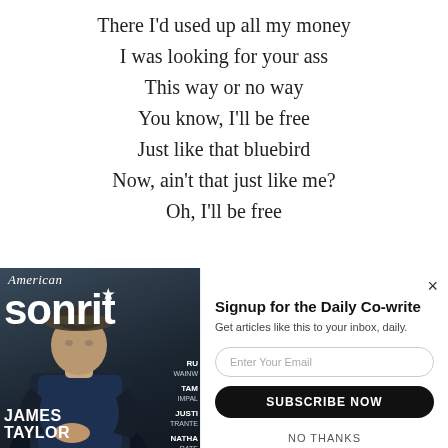There I'd used up all my money
I was looking for your ass
This way or no way
You know, I'll be free
Just like that bluebird
Now, ain't that just like me?
Oh, I'll be free
[Figure (photo): American Songwriter magazine cover featuring James Taylor]
[Figure (screenshot): Email signup popup overlay: 'Signup for the Daily Co-write', email input, Subscribe Now button, No Thanks link]